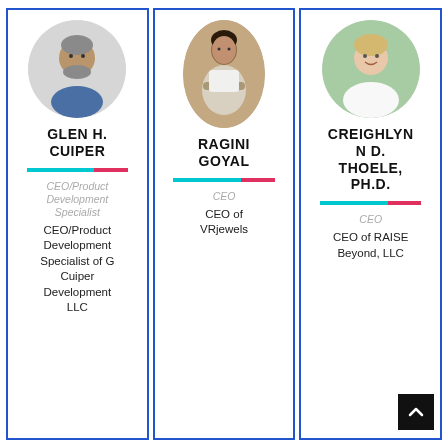[Figure (photo): Profile photo of Glen H. Cuiper, older man with gray beard, circular crop]
GLEN H. CUIPER
CEO/Product Development Specialist
CEO/Product Development Specialist of G Cuiper Development LLC
[Figure (photo): Profile photo of Ragini Goyal, young woman posing, oval crop]
RAGINI GOYAL
CEO
CEO of VRjewels
[Figure (photo): Profile photo of Creighlyn D. Thoele, Ph.D., woman smiling outdoors, circular crop]
CREIGHLYN N D. THOELE, PH.D.
CEO
CEO of RAISE Beyond, LLC